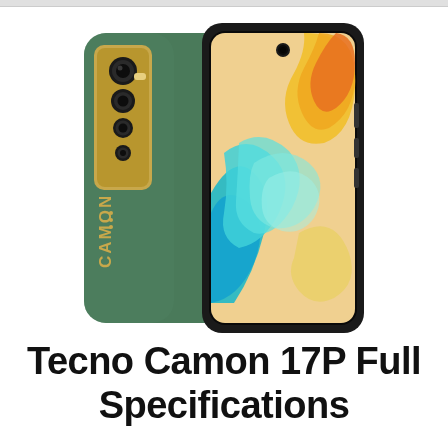[Figure (photo): Tecno Camon 17P smartphone shown from both front and back. The back is matte green with a gold camera module housing containing four lenses in the upper left, and the CAMON logo in gold text vertically on the lower portion. The front shows a tall display with a punch-hole selfie camera at top center, displaying a colorful abstract wallpaper with teal, blue, yellow and orange swirls.]
Tecno Camon 17P Full Specifications